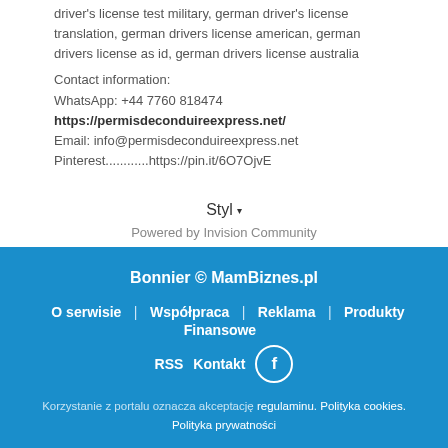driver's license test military, german driver's license translation, german drivers license american, german drivers license as id, german drivers license australia
Contact information:
WhatsApp: +44 7760 818474
https://permisdeconduireexpress.net/
Email: info@permisdeconduireexpress.net
Pinterest............https://pin.it/6O7OjvE
Styl ▾
Powered by Invision Community
Bonnier © MamBiznes.pl
O serwisie  Współpraca  Reklama  Produkty Finansowe
RSS  Kontakt  [f]
Korzystanie z portalu oznacza akceptację regulaminu. Polityka cookies.
Polityka prywatności